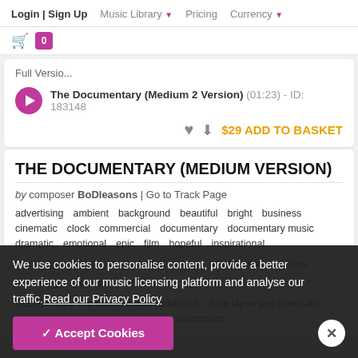Login | Sign Up  Music Library ▾  Pricing  Currency ▾
Full Versio...
The Documentary (Medium 2 Version) (01:23) - ID: 183148
$29 ADD TO BASKET
THE DOCUMENTARY (MEDIUM VERSION)
by composer BoDleasons | Go to Track Page
advertising  ambient  background  beautiful  bright  business
cinematic  clock  commercial  documentary  documentary music
dramatic  emotional  epic  film  hopeful  inspirational
inspiring  modern  motivational  piano  presentation  serious
technology  timelapse  trailer
Documentary is a dramatic composition p... time-lapse and cinematic videos needing an ambient and airy soundtrack.
We use cookies to personalise content, provide a better experience of our music licensing platform and analyse our traffic.Read our Privacy Policy
✓ Accept Cookies